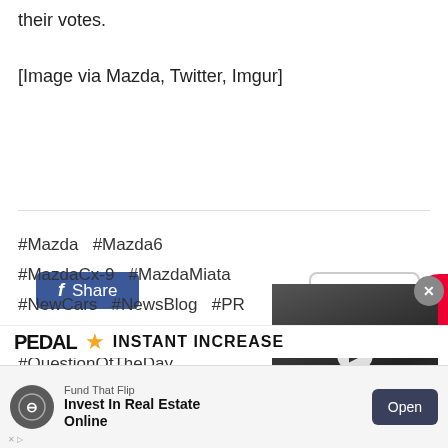their votes.
[Image via Mazda, Twitter, Imgur]
[Figure (screenshot): Facebook Share button (blue rounded rectangle) and Print button (outlined rounded rectangle with printer icon)]
#Mazda  #Mazda6  #MazdaCx-9  #MazdaMiata
#NewCars  #NewsBlog  #PR  #QOTD
#QuestionOfTheDay
[Figure (screenshot): Video overlay showing a man near cars with a play button, and caption text about the original Kia Niro]
[Figure (screenshot): Advertisement banner: Fund That Flip - Invest In Real Estate Online, with Open button. PEDAL logo with star and INSTANT INCREASE text visible above.]